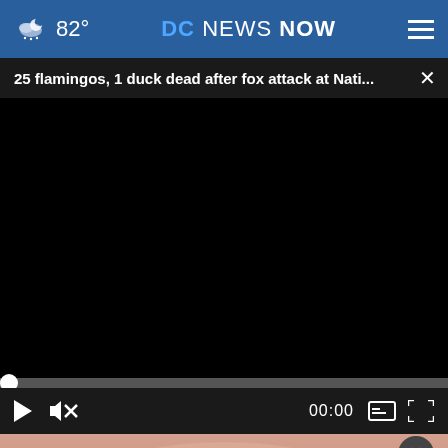82° DC NEWS NOW
25 flamingos, 1 duck dead after fox attack at Nati...
[Figure (screenshot): Black video player area with progress bar at bottom showing 00:00 timestamp and player controls including play, mute, caption, and fullscreen buttons]
[Figure (photo): Partial view of a pink flamingo, bottom portion of the page]
Get SAVEDBYTHESCAN.ORG — ad council — American Lung Association.